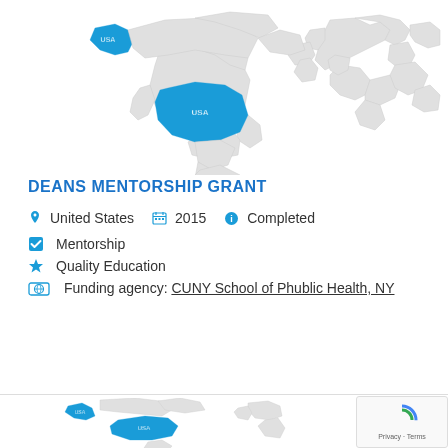[Figure (map): World map with USA highlighted in blue (North America and Alaska shown), rest of world in light gray outline. Europe partially visible on right side.]
DEANS MENTORSHIP GRANT
United States  2015  Completed
Mentorship
Quality Education
Funding agency: CUNY School of Phublic Health, NY
[Figure (map): Partial world map at bottom, same style as top map, USA highlighted in blue.]